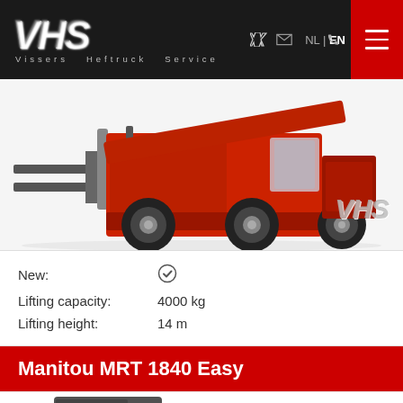[Figure (logo): VHS (Vissers Heftruck Service) company logo on black background with navigation icons and language selector (NL | EN) and red hamburger menu button]
[Figure (photo): Red Manitou telescopic forklift/telehandler machine photographed from the side showing forks, wheels, and cab, on white background with VHS watermark logo]
New: ✓
Lifting capacity: 4000 kg
Lifting height: 14 m
Manitou MRT 1840 Easy
[Figure (photo): Partial view of another Manitou machine (dark colored) at the bottom of the page]